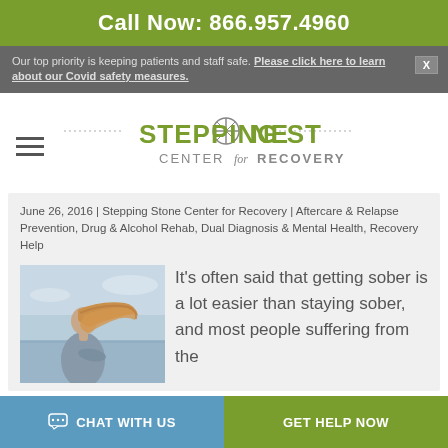Call Now: 866.957.4960
Our top priority is keeping patients and staff safe. Please click here to learn about our Covid safety measures.
[Figure (logo): Stepping Stone Center for Recovery logo with compass rose icon]
June 26, 2016 | Stepping Stone Center for Recovery | Aftercare & Relapse Prevention, Drug & Alcohol Rehab, Dual Diagnosis & Mental Health, Recovery Help
[Figure (photo): Woman with long hair blowing in the wind, standing by the water, hugging herself]
It's often said that getting sober is a lot easier than staying sober, and most people suffering from the
CHAT WITH US   GET HELP NOW